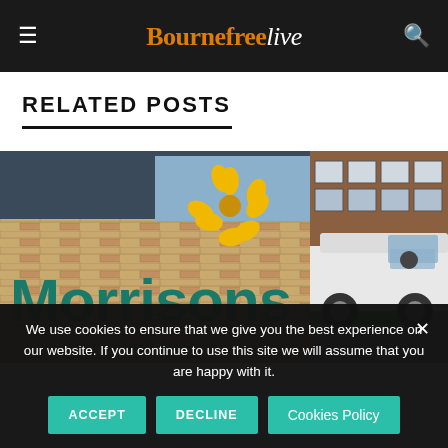Bournefreelive
RELATED POSTS
[Figure (photo): Morrisons supermarket sign with yellow flower logo and teal lettering reading 'Morrisons Since 1899' on brick building]
[Figure (photo): White van parked outside a brick building with green grass]
We use cookies to ensure that we give you the best experience on our website. If you continue to use this site we will assume that you are happy with it.
ACCEPT   DECLINE   Cookies Policy